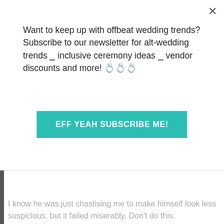pretend that the girl ring finger size look exactly like her size.
Want to keep up with offbeat wedding trends?Subscribe to our newsletter for alt-wedding trends ✦ inclusive ceremony ideas ✦ vendor discounts and more! 💍💍💍
EFF YEAH SUBSCRIBE ME!
Lisa Cee says:
Dec. 19, 2013 at 11:14 am
My husband stole the class ring off my nightstand and then blamed me for losing it. After he was done going to the jeweler, he then came to me and claimed me had found it.
I know he was just chastising me to make himself look less suspicious, but it failed miserably. Don't do this.